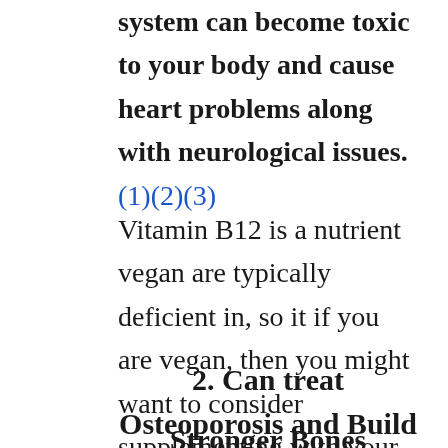system can become toxic to your body and cause heart problems along with neurological issues. (1)(2)(3)
Vitamin B12 is a nutrient vegan are typically deficient in, so it if you are vegan, then you might want to consider supplementing with your vitamin B12.
2. Can treat Osteoporosis and Build Stronger Bones